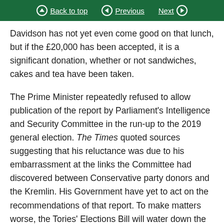Back to top | Previous | Next
Davidson has not yet even come good on that lunch, but if the £20,000 has been accepted, it is a significant donation, whether or not sandwiches, cakes and tea have been taken.
The Prime Minister repeatedly refused to allow publication of the report by Parliament's Intelligence and Security Committee in the run-up to the 2019 general election. The Times quoted sources suggesting that his reluctance was due to his embarrassment at the links the Committee had discovered between Conservative party donors and the Kremlin. His Government have yet to act on the recommendations of that report. To make matters worse, the Tories' Elections Bill will water down the Electoral Commission and make foreign donations